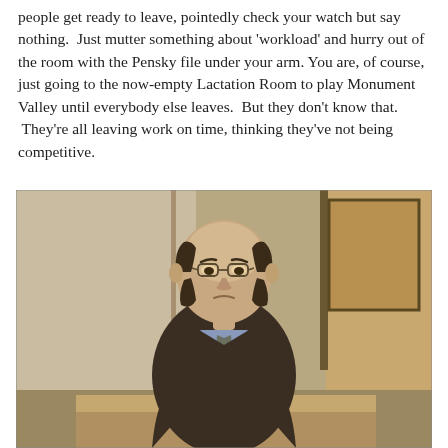people get ready to leave, pointedly check your watch but say nothing.  Just mutter something about 'workload' and hurry out of the room with the Pensky file under your arm. You are, of course, just going to the now-empty Lactation Room to play Monument Valley until everybody else leaves.  But they don't know that.  They're all leaving work on time, thinking they've not being competitive.
[Figure (photo): A balding man in a dark brown suit and tie, seated at a desk, looking downward with a serious or sullen expression. The background shows an office interior with walls and a framed picture. This appears to be a screenshot from the TV show Seinfeld featuring the character George Costanza.]